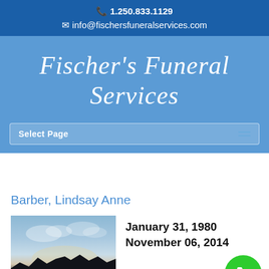1.250.833.1129
info@fischersfuneralservices.com
Fischer's Funeral Services
Select Page
Barber, Lindsay Anne
[Figure (photo): Outdoor sky photo showing clouds and a silhouetted mountain/treeline at dusk or dawn, with light rays visible. Serves as memorial photo background.]
January 31, 1980
November 06, 2014